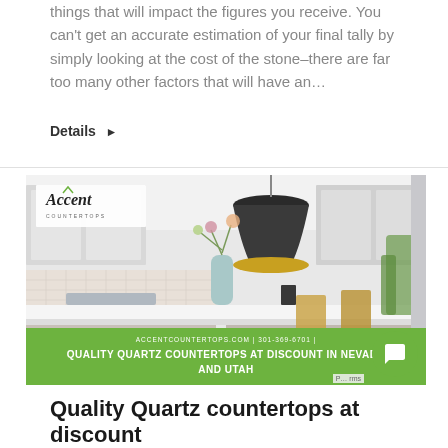things that will impact the figures you receive. You can't get an accurate estimation of your final tally by simply looking at the cost of the stone–there are far too many other factors that will have an...
Details ▶
[Figure (photo): Kitchen interior advertisement for Accent Countertops showing a modern white kitchen with pendant lamp and countertop. Green banner overlay reads: ACCENTCOUNTERTOPS.COM | 301-369-6701 | QUALITY QUARTZ COUNTERTOPS AT DISCOUNT IN NEVADA AND UTAH]
Quality Quartz countertops at discount